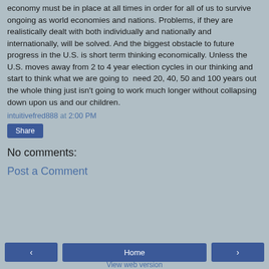economy must be in place at all times in order for all of us to survive ongoing as world economies and nations. Problems, if they are realistically dealt with both individually and nationally and internationally, will be solved. And the biggest obstacle to future progress in the U.S. is short term thinking economically. Unless the U.S. moves away from 2 to 4 year election cycles in our thinking and start to think what we are going to need 20, 40, 50 and 100 years out the whole thing just isn't going to work much longer without collapsing down upon us and our children.
intuitivefred888 at 2:00 PM
Share
No comments:
Post a Comment
◄  Home  ►  View web version